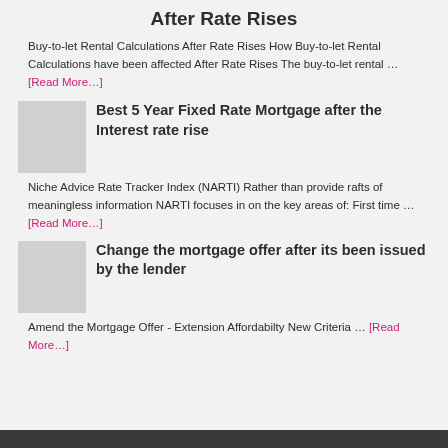After Rate Rises
Buy-to-let Rental Calculations After Rate Rises How Buy-to-let Rental Calculations have been affected After Rate Rises The buy-to-let rental … [Read More…]
[Figure (photo): Thumbnail image placeholder for Best 5 Year Fixed Rate Mortgage article]
Best 5 Year Fixed Rate Mortgage after the Interest rate rise
Niche Advice Rate Tracker Index (NARTI) Rather than provide rafts of meaningless information NARTI focuses in on the key areas of: First time … [Read More…]
[Figure (photo): Thumbnail image placeholder for Change the mortgage offer article]
Change the mortgage offer after its been issued by the lender
Amend the Mortgage Offer - Extension Affordabilty New Criteria … [Read More…]